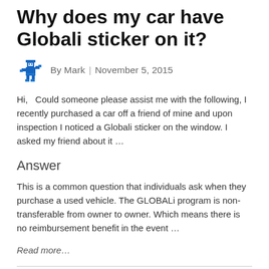Why does my car have Globali sticker on it?
By Mark | November 5, 2015
Hi,   Could someone please assist me with the following, I recently purchased a car off a friend of mine and upon inspection I noticed a Globali sticker on the window. I asked my friend about it …
Answer
This is a common question that individuals ask when they purchase a used vehicle. The GLOBALi program is non-transferable from owner to owner. Which means there is no reimbursement benefit in the event …
Read more…
Can GLOBALi Vehicle Identification Number Reel